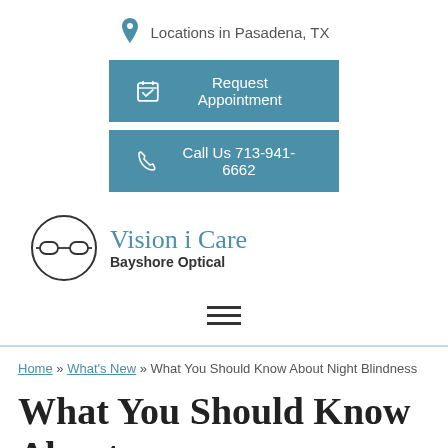Locations in Pasadena, TX
Request Appointment
Call Us 713-941-6662
[Figure (logo): Vision i Care Bayshore Optical logo — glasses icon in circle with text]
[Figure (other): Hamburger menu icon (three horizontal lines)]
Home » What's New » What You Should Know About Night Blindness
What You Should Know About